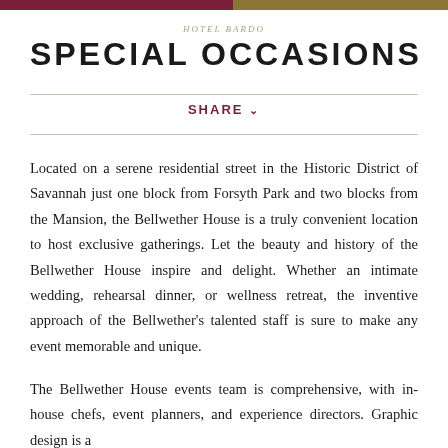HOTEL BARDO
SPECIAL OCCASIONS
SHARE ▾
Located on a serene residential street in the Historic District of Savannah just one block from Forsyth Park and two blocks from the Mansion, the Bellwether House is a truly convenient location to host exclusive gatherings. Let the beauty and history of the Bellwether House inspire and delight. Whether an intimate wedding, rehearsal dinner, or wellness retreat, the inventive approach of the Bellwether's talented staff is sure to make any event memorable and unique.
The Bellwether House events team is comprehensive, with in-house chefs, event planners, and experience directors. Graphic design is a